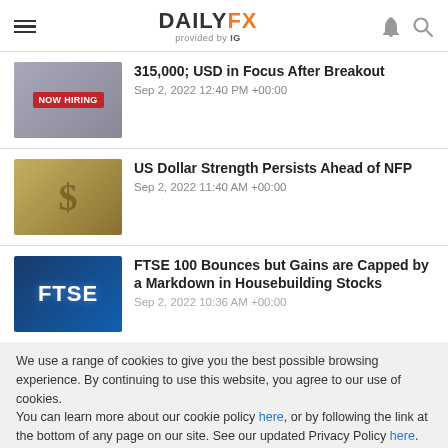DAILYFX provided by IG
315,000; USD in Focus After Breakout
Sep 2, 2022 12:40 PM +00:00
US Dollar Strength Persists Ahead of NFP
Sep 2, 2022 11:40 AM +00:00
FTSE 100 Bounces but Gains are Capped by a Markdown in Housebuilding Stocks
Sep 2, 2022 10:36 AM +00:00
We use a range of cookies to give you the best possible browsing experience. By continuing to use this website, you agree to our use of cookies.
You can learn more about our cookie policy here, or by following the link at the bottom of any page on our site. See our updated Privacy Policy here.
Accept